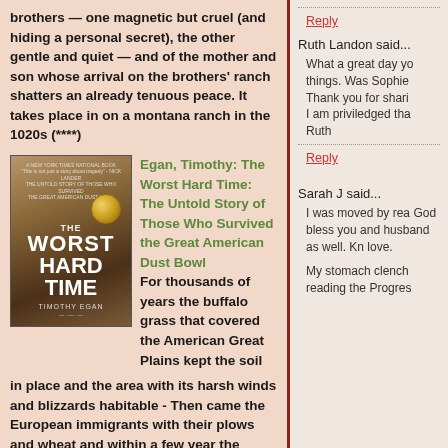brothers — one magnetic but cruel (and hiding a personal secret), the other gentle and quiet — and of the mother and son whose arrival on the brothers' ranch shatters an already tenuous peace. It takes place in on a montana ranch in the 1020s (****)
[Figure (illustration): Book cover of 'The Worst Hard Time' by Timothy Egan, showing dusty brown landscape with large bold white text]
Egan, Timothy: The Worst Hard Time: The Untold Story of Those Who Survived the Great American Dust Bowl For thousands of years the buffalo grass that covered the American Great Plains kept the soil in place and the area with its harsh winds and blizzards habitable - Then came the European immigrants with their plows and wheat and within a few year the result was "The Dust Bowl" But it was not just dust that swept the area but giant
Reply
Ruth Landon said...
What a great day yo things. Was Sophie Thank you for shari I am priviledged tha Ruth
Reply
Sarah J said...
I was moved by rea God bless you and husband as well. Kn love.
My stomach clench reading the Progres